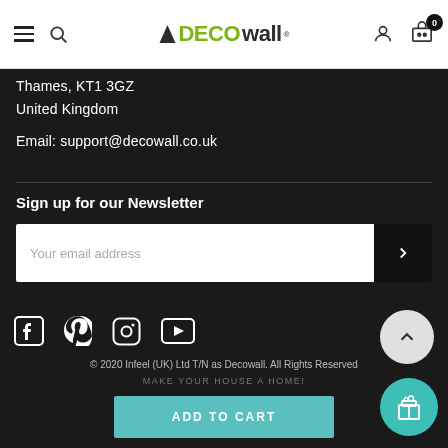DECOwall navigation header with logo, search, user and cart icons
Thames, KT1 3GZ
United Kingdom
Email: support@decowall.co.uk
Sign up for our Newsletter
[Figure (screenshot): Email newsletter signup form with text input 'Your email address' and submit button with arrow]
[Figure (infographic): Social media icons: Facebook, Pinterest, Instagram, YouTube]
© 2020 Infeel (UK) Ltd T/N as Decowall. All Rights Reserved
MAKE YOUR HOUSE A HOME!
ADD TO CART